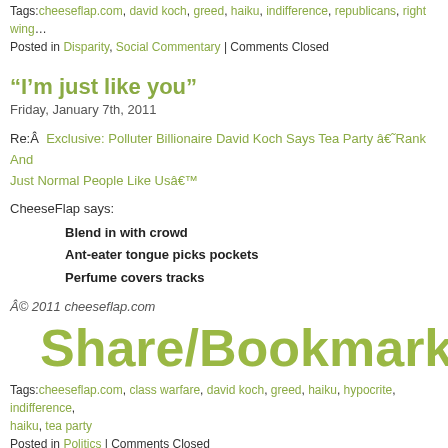Tags:cheeseflap.com, david koch, greed, haiku, indifference, republicans, right wing…
Posted in Disparity, Social Commentary | Comments Closed
“I’m just like you”
Friday, January 7th, 2011
Re:Â  Exclusive: Polluter Billionaire David Koch Says Tea Party â€˜Rank And File Are Just Normal People Like Usâ€™
CheeseFlap says:
Blend in with crowd
Ant-eater tongue picks pockets
Perfume covers tracks
Â© 2011 cheeseflap.com
Share/Bookmark
Tags:cheeseflap.com, class warfare, david koch, greed, haiku, hypocrite, indifference, haiku, tea party
Posted in Politics | Comments Closed